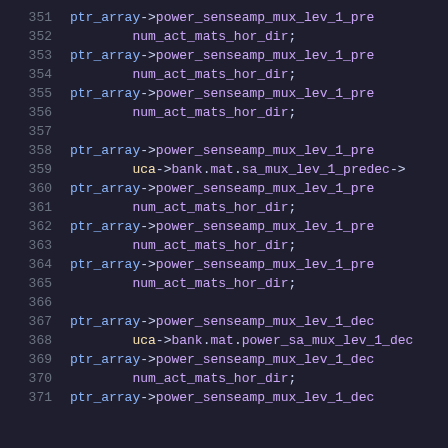351  ptr_array->power_senseamp_mux_lev_1_pre
352      num_act_mats_hor_dir;
353  ptr_array->power_senseamp_mux_lev_1_pre
354      num_act_mats_hor_dir;
355  ptr_array->power_senseamp_mux_lev_1_pre
356      num_act_mats_hor_dir;
357
358  ptr_array->power_senseamp_mux_lev_1_pre
359      uca->bank.mat.sa_mux_lev_1_predec->b
360  ptr_array->power_senseamp_mux_lev_1_pre
361      num_act_mats_hor_dir;
362  ptr_array->power_senseamp_mux_lev_1_pre
363      num_act_mats_hor_dir;
364  ptr_array->power_senseamp_mux_lev_1_pre
365      num_act_mats_hor_dir;
366
367  ptr_array->power_senseamp_mux_lev_1_dec
368      uca->bank.mat.power_sa_mux_lev_1_dec
369  ptr_array->power_senseamp_mux_lev_1_dec
370      num_act_mats_hor_dir;
371  ptr_array->power_senseamp_mux_lev_1_dec